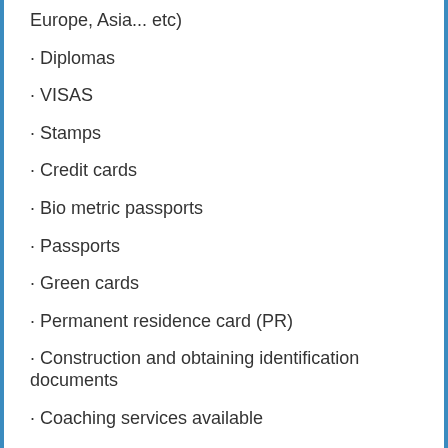Europe, Asia... etc)
· Diplomas
· VISAS
· Stamps
· Credit cards
· Bio metric passports
· Passports
· Green cards
· Permanent residence card (PR)
· Construction and obtaining identification documents
· Coaching services available
· Work permits
· Birth certificates
· Marriage certificates
· High Schol Diplomas